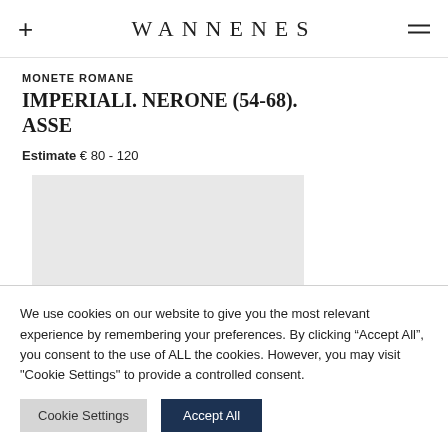WANNENES
MONETE ROMANE IMPERIALI. NERONE (54-68). ASSE
Estimate € 80 - 120
[Figure (other): Gray image placeholder rectangle]
We use cookies on our website to give you the most relevant experience by remembering your preferences. By clicking “Accept All”, you consent to the use of ALL the cookies. However, you may visit "Cookie Settings" to provide a controlled consent.